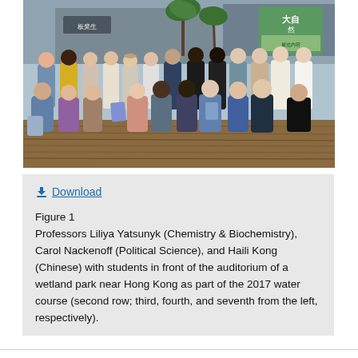[Figure (photo): Group photo of professors and students standing and crouching in two rows on a wooden deck in front of a building with Chinese signage and a green sign with Chinese characters. Many students are holding blue/pink booklets. Tropical plants visible in background.]
⬇ Download

Figure 1
Professors Liliya Yatsunyk (Chemistry & Biochemistry), Carol Nackenoff (Political Science), and Haili Kong (Chinese) with students in front of the auditorium of a wetland park near Hong Kong as part of the 2017 water course (second row; third, fourth, and seventh from the left, respectively).